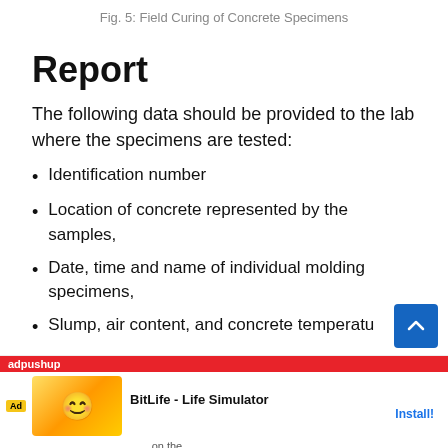Fig. 5: Field Curing of Concrete Specimens
Report
The following data should be provided to the lab where the specimens are tested:
Identification number
Location of concrete represented by the samples,
Date, time and name of individual molding specimens,
Slump, air content, and concrete temperature on the [laboratory...]